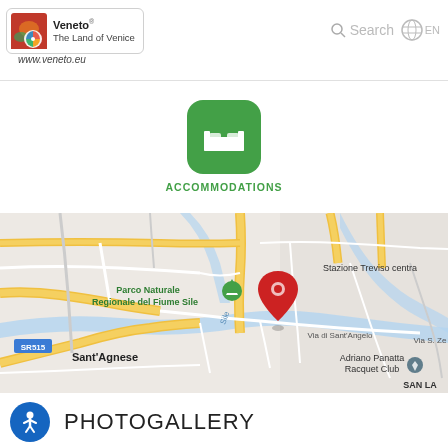[Figure (logo): Veneto The Land of Venice logo with colorful pinwheel icon, in a rounded rectangle border, with www.veneto.eu below]
[Figure (screenshot): Search icon and globe/language EN icon in top right navigation area]
[Figure (logo): Green rounded square icon with white bed/accommodation symbol]
ACCOMMODATIONS
[Figure (map): Google Maps screenshot showing area around Parco Naturale Regionale del Fiume Sile, Sant'Agnese, Stazione Treviso centra(le), Via di Sant'Angelo, Via S. Ze(non), Adriano Panatta Racquet Club, SAN LA(ZZARO), SR515, with a red location pin marker]
[Figure (logo): Blue circle accessibility icon (person with arms outstretched)]
PHOTOGALLERY